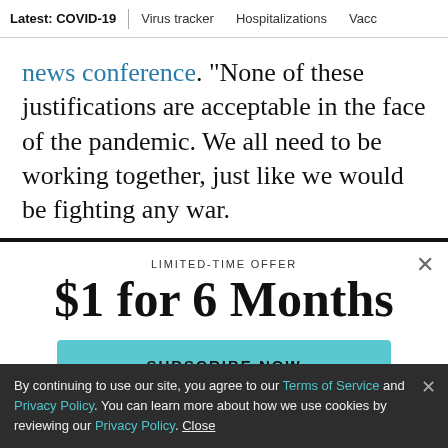Latest: COVID-19 | Virus tracker | Hospitalizations | Vacc
news conference. “None of these justifications are acceptable in the face of the pandemic. We all need to be working together, just like we would be fighting any war.
LIMITED-TIME OFFER
$1 for 6 Months
SUBSCRIBE NOW
By continuing to use our site, you agree to our Terms of Service and Privacy Policy. You can learn more about how we use cookies by reviewing our Privacy Policy. Close